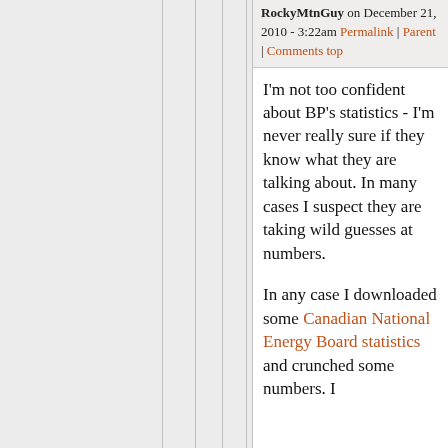RockyMtnGuy on December 21, 2010 - 3:22am Permalink | Parent | Comments top
I'm not too confident about BP's statistics - I'm never really sure if they know what they are talking about. In many cases I suspect they are taking wild guesses at numbers.

In any case I downloaded some Canadian National Energy Board statistics and crunched some numbers. I